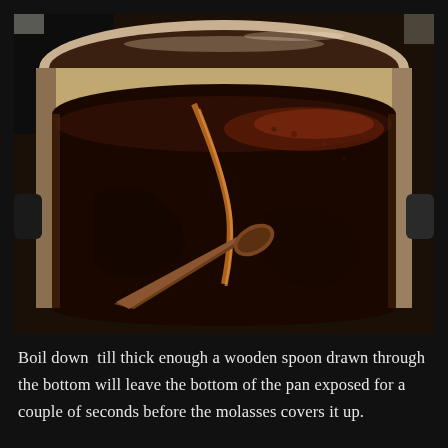[Figure (photo): A large cooking pot seen from above containing dark brown molasses being stirred with a wooden spoon. The liquid is thick and dark reddish-brown, with a lighter streak where the spoon has been drawn through the center, revealing the bottom. The pot has a light-colored exterior and dark handles, sitting on a stovetop.]
Boil down  till thick enough a wooden spoon drawn through the bottom will leave the bottom of the pan exposed for a couple of seconds before the molasses covers it up.